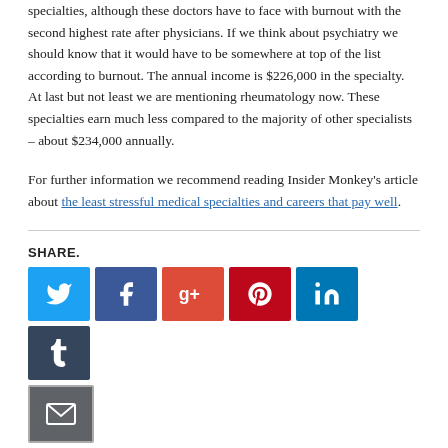specialties, although these doctors have to face with burnout with the second highest rate after physicians. If we think about psychiatry we should know that it would have to be somewhere at top of the list according to burnout. The annual income is $226,000 in the specialty. At last but not least we are mentioning rheumatology now. These specialties earn much less compared to the majority of other specialists – about $234,000 annually.
For further information we recommend reading Insider Monkey's article about the least stressful medical specialties and careers that pay well.
SHARE.
[Figure (infographic): Social media share buttons: Twitter, Facebook, Google+, Pinterest, LinkedIn, Tumblr, Email]
RELATED POSTS